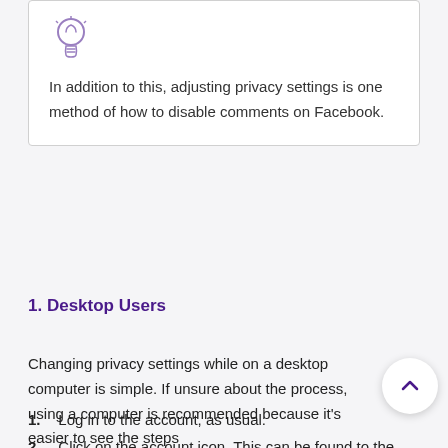In addition to this, adjusting privacy settings is one method of how to disable comments on Facebook.
1. Desktop Users
Changing privacy settings while on a desktop computer is simple. If unsure about the process, using a computer is recommended because it's easier to see the steps
1. Log in to the account, as usual.
2. Click on the account icon. This can be found to the